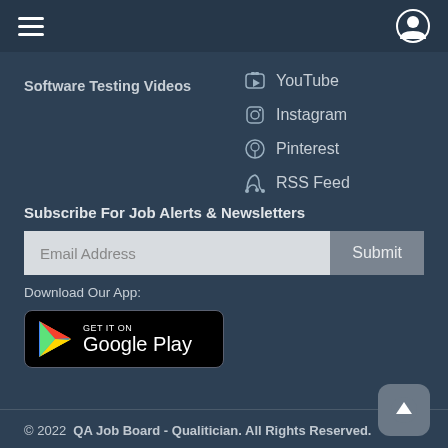Menu / User icon navigation bar
Software Testing Videos
YouTube
Instagram
Pinterest
RSS Feed
Subscribe For Job Alerts & Newsletters
Email Address  Submit
Download Our App:
[Figure (logo): GET IT ON Google Play badge]
© 2022  QA Job Board - Qualitician. All Rights Reserved.